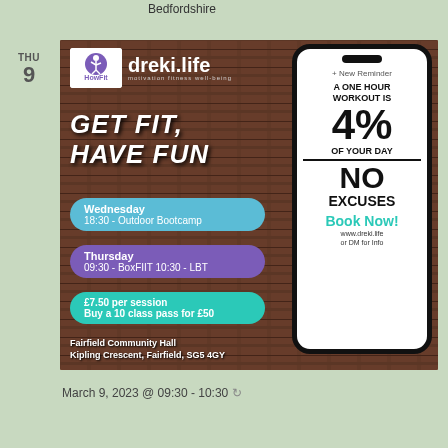Bedfordshire
THU
9
[Figure (photo): Fitness class advertisement for dreki.life by HowFit. Shows a phone mockup with motivational text 'A One Hour Workout is 4% of Your Day - No Excuses', schedule details for Wednesday 18:30 Outdoor Bootcamp and Thursday 09:30 BoxFIIT 10:30 LBT, pricing £7.50 per session or 10 class pass for £50, venue Fairfield Community Hall, Kipling Crescent, Fairfield, SG5 4GY. Book at www.dreki.life.]
March 9, 2023 @ 09:30 - 10:30